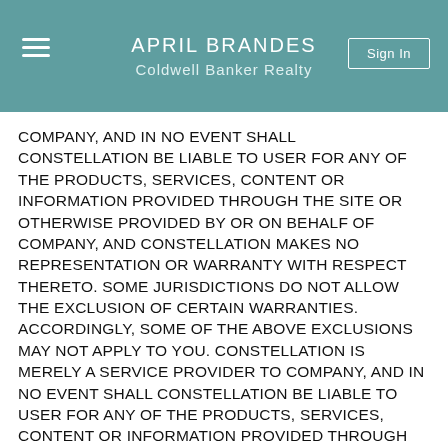APRIL BRANDES
Coldwell Banker Realty
COMPANY, AND IN NO EVENT SHALL CONSTELLATION BE LIABLE TO USER FOR ANY OF THE PRODUCTS, SERVICES, CONTENT OR INFORMATION PROVIDED THROUGH THE SITE OR OTHERWISE PROVIDED BY OR ON BEHALF OF COMPANY, AND CONSTELLATION MAKES NO REPRESENTATION OR WARRANTY WITH RESPECT THERETO. SOME JURISDICTIONS DO NOT ALLOW THE EXCLUSION OF CERTAIN WARRANTIES. ACCORDINGLY, SOME OF THE ABOVE EXCLUSIONS MAY NOT APPLY TO YOU. CONSTELLATION IS MERELY A SERVICE PROVIDER TO COMPANY, AND IN NO EVENT SHALL CONSTELLATION BE LIABLE TO USER FOR ANY OF THE PRODUCTS, SERVICES, CONTENT OR INFORMATION PROVIDED THROUGH THE SITE OR OTHERWISE PROVIDED BY OR ON BEHALF OF COMPANY, AND CONSTELLATION MAKES NO REPRESENTATION OR WARRANTY WITH RESPECT THERETO. SOME JURISDICTIONS DO NOT ALLOW THE EXCLUSION OF CERTAIN WARRANTIES. ACCORDINGLY